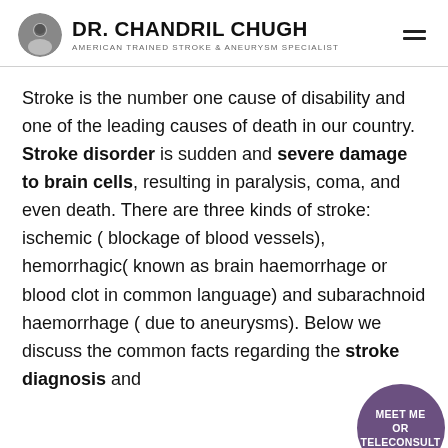DR. CHANDRIL CHUGH — AMERICAN TRAINED STROKE & ANEURYSM SPECIALIST
Stroke is the number one cause of disability and one of the leading causes of death in our country. Stroke disorder is sudden and severe damage to brain cells, resulting in paralysis, coma, and even death. There are three kinds of stroke: ischemic ( blockage of blood vessels), hemorrhagic( known as brain haemorrhage or blood clot in common language) and subarachnoid haemorrhage ( due to aneurysms). Below we discuss the common facts regarding the stroke diagnosis and
[Figure (other): Purple circular badge with text MEET ME OR TELECONSULT, and a dark scroll-to-top button below it]